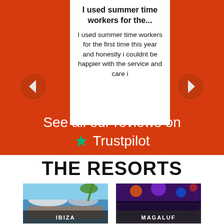I used summer time workers for the...
I used summer time workers for the first time this year and honestly i couldnt be happier with the service and care i
See all our reviews on
[Figure (logo): Trustpilot logo with green star]
THE RESORTS
[Figure (photo): Ibiza resort pool party photo with label IBIZA]
[Figure (photo): Magaluf nightclub crowd photo with label MAGALUF]
[Figure (photo): Bottom left resort photo (partially visible)]
[Figure (photo): Bottom right resort photo (partially visible)]